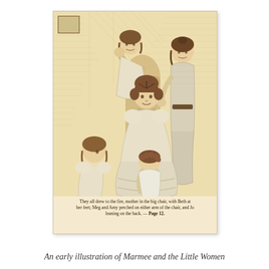[Figure (illustration): An early Victorian-era engraving/illustration printed on aged cream/sepia paper showing a group of five figures — a mother seated in a large chair with a child (Beth) at her feet, two daughters (Meg and Amy) perched on either arm of the chair, and one (Jo) leaning on the back. The scene has a warm sepia tone typical of 19th-century book engravings. An inner caption at the bottom of the image reads the scene description referencing Page 12.]
An early illustration of Marmee and the Little Women